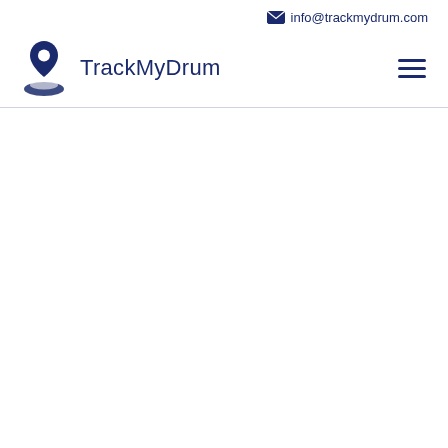✉ info@trackmydrum.com
[Figure (logo): TrackMyDrum logo: a location pin icon above an oval/disc shape in dark navy blue, with the text 'TrackMyDrum' beside it in dark navy]
[Figure (other): Hamburger menu icon (three horizontal lines) in dark navy blue]